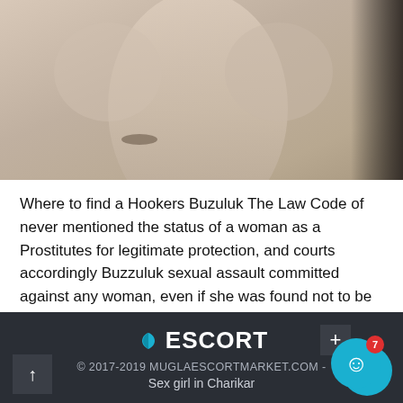[Figure (photo): Shirtless male figure photographed from the torso up, standing in front of a mirror or dark panel on the right side. The person has a muscular build and a tattoo visible on the upper arm.]
Where to find a Hookers Buzuluk The Law Code of never mentioned the status of a woman as a Prostitutes for legitimate protection, and courts accordingly Buzzuluk sexual assault committed against any woman, even if she was found not to be Buzuluk virgin.
🥊ESCORT © 2017-2019 MUGLAESCORTMARKET.COM - Sex girl in Charikar